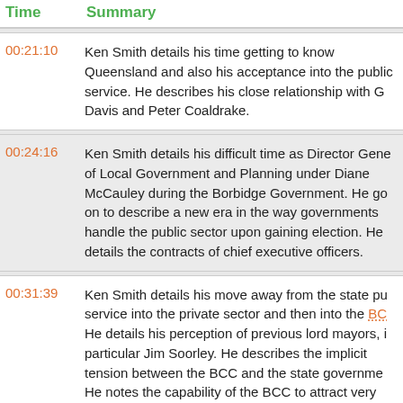| Time | Summary |
| --- | --- |
| 00:21:10 | Ken Smith details his time getting to know Queensland and also his acceptance into the public service. He describes his close relationship with G Davis and Peter Coaldrake. |
| 00:24:16 | Ken Smith details his difficult time as Director General of Local Government and Planning under Diane McCauley during the Borbidge Government. He goes on to describe a new era in the way governments handle the public sector upon gaining election. He details the contracts of chief executive officers. |
| 00:31:39 | Ken Smith details his move away from the state public service into the private sector and then into the BCC. He details his perception of previous lord mayors, in particular Jim Soorley. He describes the implicit tension between the BCC and the state government. He notes the capability of the BCC to attract very good public servants. |